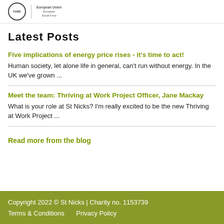[Figure (logo): Fund logo (circular) and European Union Social Fund logo side by side with vertical divider]
Latest Posts
Five implications of energy price rises - it's time to act!
Human society, let alone life in general, can't run without energy. In the UK we've grown ...
Meet the team: Thriving at Work Project Officer, Jane Mackay
What is your role at St Nicks?  I'm really excited to be the new Thriving at Work Project ...
Read more from the blog
Copyright 2022 © St Nicks | Charity no. 1153739
Terms & Conditions    Privacy Policy